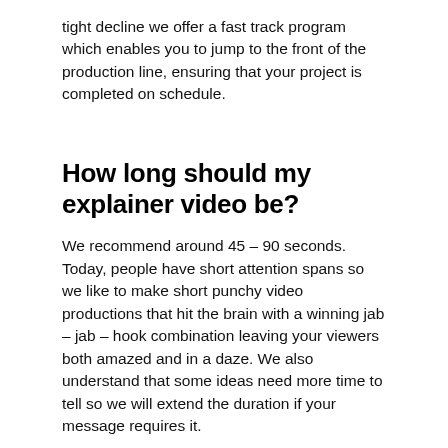tight decline we offer a fast track program which enables you to jump to the front of the production line, ensuring that your project is completed on schedule.
How long should my explainer video be?
We recommend around 45 – 90 seconds. Today, people have short attention spans so we like to make short punchy video productions that hit the brain with a winning jab – jab – hook combination leaving your viewers both amazed and in a daze. We also understand that some ideas need more time to tell so we will extend the duration if your message requires it.
What does the video making process look like?
First, we'll pick your brain so we can understand exactly what you are after. Next we will propose a creative direction for the video which out l ines a whole which it's ok to ok b. A new t aining is